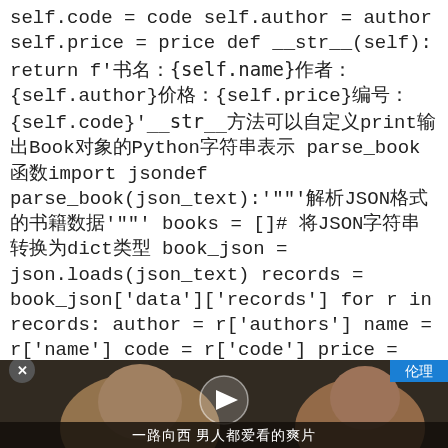self.code = code self.author = author self.price = price def __str__(self): return f'书名：{self.name}作者：{self.author}价格：{self.price}编号：{self.code}'__str__方法可以自定义print输出Book对象的Python字符串表示

    parse_book函数import jsondef parse_book(json_text):"""解析JSON格式的书籍数据""" books = [] # 将JSON字符串转换为dict类型 book_json = json.loads(json_text) records = book_json['data']['records'] for r in records: author = r['authors'] name = r['name'] code = r['code'] price = r['price'] book = Book(name, code, author, price) books.append(book)
[Figure (screenshot): Video thumbnail showing two people (a woman and a man) in close-up, with a play button overlay in the center, a blue label '伦理' in the top right corner, and a subtitle '一路向西 男人都爱看的爽片' at the bottom.]